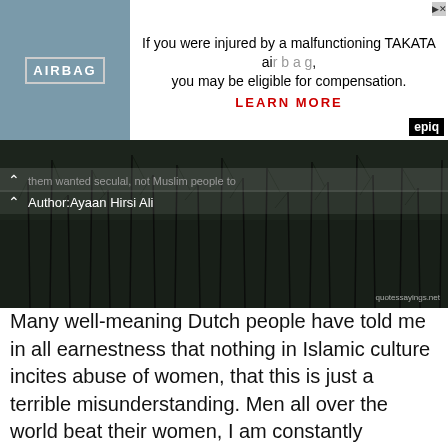[Figure (screenshot): Advertisement banner: image of an airbag on the left, text 'If you were injured by a malfunctioning TAKATA airbag, you may be eligible for compensation. LEARN MORE' on the right, with Epiq logo.]
[Figure (photo): Dark image with reeds/grass silhouettes against a dim sky. Overlaid text shows author attribution: 'Author: Ayaan Hirsi Ali' with a chevron/arrow icon. URL 'quotessayings.net' visible bottom right.]
Many well-meaning Dutch people have told me in all earnestness that nothing in Islamic culture incites abuse of women, that this is just a terrible misunderstanding. Men all over the world beat their women, I am constantly informed. In reality, these Westerners are the ones who misunderstand Islam. The Quaran mandates these punishments. It gives a legitimate basis for abuse, so that the perpetrators feel no shame and are not hounded by their conscience of their community. I wanted my art exhibit to make it